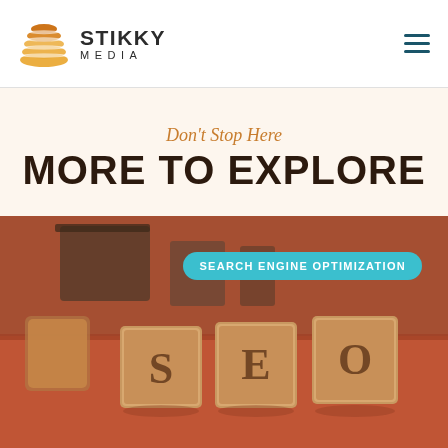[Figure (logo): Stikky Media logo with orange layered circle icon and bold text 'STIKKY MEDIA']
Don't Stop Here
MORE TO EXPLORE
[Figure (photo): Photo of wooden SEO letter blocks on a red/orange surface with a teal badge reading 'SEARCH ENGINE OPTIMIZATION']